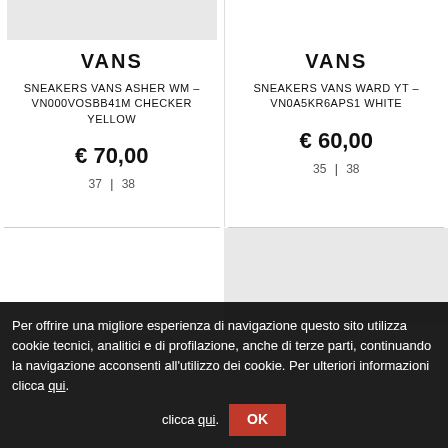[Figure (photo): Product image placeholder - left column, partial grey rectangle at top]
VANS
SNEAKERS VANS ASHER WM – VN000VOSBB41M CHECKER YELLOW
€ 70,00
37 | 38
VANS
SNEAKERS VANS WARD YT – VN0A5KR6APS1 WHITE
€ 60,00
35 | 38
[Figure (photo): Partial product image placeholder - right column bottom, grey rectangle]
Per offrire una migliore esperienza di navigazione questo sito utilizza cookie tecnici, analitici e di profilazione, anche di terze parti, continuando la navigazione acconsenti all'utilizzo dei cookie. Per ulteriori informazioni clicca qui. OK